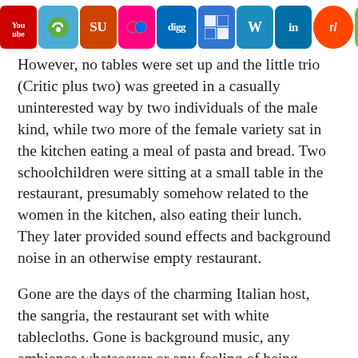Social media icon toolbar: YouTube, Stumbleupon, StumbleUpon, Flickr, Digg, Delicious, WordPress, LinkedIn, Reddit, iMessage, Facebook, Twitter, RSS
However, no tables were set up and the little trio (Critic plus two) was greeted in a casually uninterested way by two individuals of the male kind, while two more of the female variety sat in the kitchen eating a meal of pasta and bread. Two schoolchildren were sitting at a small table in the restaurant, presumably somehow related to the women in the kitchen, also eating their lunch. They later provided sound effects and background noise in an otherwise empty restaurant.
Gone are the days of the charming Italian host, the sangria, the restaurant set with white tablecloths. Gone is background music, any ambience whatsoever or any feeling of being welcome. A meek, unsmiling individual with the personality of a sea urchin – a traumatized sea urchin that has suffered parental abuse as a baby urchin and moves like it expects a whipping any minute – set the one table and proceeded to take the order. Two of the dishes ordered were